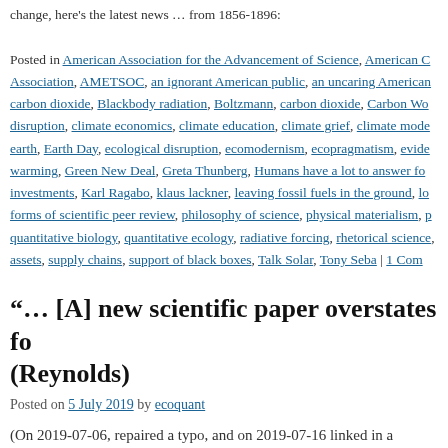Posted in American Association for the Advancement of Science, American C… Association, AMETSOC, an ignorant American public, an uncaring American… carbon dioxide, Blackbody radiation, Boltzmann, carbon dioxide, Carbon Wor… disruption, climate economics, climate education, climate grief, climate model… earth, Earth Day, ecological disruption, ecomodernism, ecopragmatism, evide… warming, Green New Deal, Greta Thunberg, Humans have a lot to answer fo… investments, Karl Ragabo, klaus lackner, leaving fossil fuels in the ground, lo… forms of scientific peer review, philosophy of science, physical materialism, p… quantitative biology, quantitative ecology, radiative forcing, rhetorical science… assets, supply chains, support of black boxes, Talk Solar, Tony Seba | 1 Com…
“… [A] new scientific paper overstates fo… (Reynolds)
Posted on 5 July 2019 by ecoquant
(On 2019-07-06, repaired a typo, and on 2019-07-16 linked in a… Rahmstorf at RealClimate.) Jesse Reynolds at Legal Planet is o… even if I accept the entirety of the … Continue reading →
Posted in American Association for the Advancement of Science, American C…